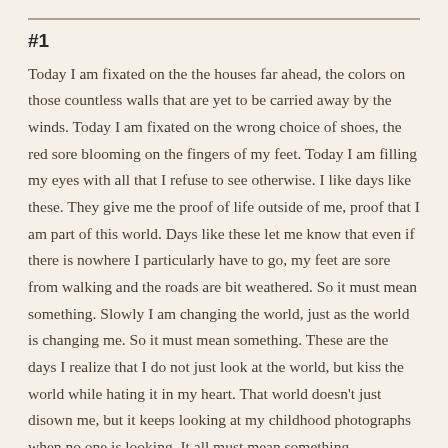#1
Today I am fixated on the the houses far ahead, the colors on those countless walls that are yet to be carried away by the winds. Today I am fixated on the wrong choice of shoes, the red sore blooming on the fingers of my feet. Today I am filling my eyes with all that I refuse to see otherwise. I like days like these. They give me the proof of life outside of me, proof that I am part of this world. Days like these let me know that even if there is nowhere I particularly have to go, my feet are sore from walking and the roads are bit weathered. So it must mean something. Slowly I am changing the world, just as the world is changing me. So it must mean something. These are the days I realize that I do not just look at the world, but kiss the world while hating it in my heart. That world doesn't just disown me, but it keeps looking at my childhood photographs when no one is looking. It all must mean something.